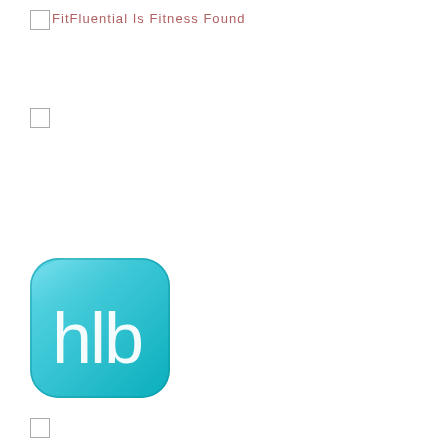FitFluential Is Fitness Found
[Figure (logo): hlb app icon logo - teal/cyan rounded square with white lowercase letters 'hlb']